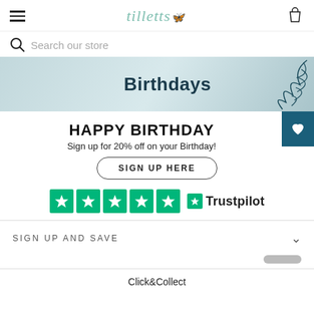tilletts
Search our store
[Figure (illustration): Banner image with text 'Birthdays' on a light teal/blue background with decorative leaf/branch illustration on the right]
HAPPY BIRTHDAY
Sign up for 20% off on your Birthday!
SIGN UP HERE
[Figure (logo): Trustpilot rating showing 5 green stars and Trustpilot logo]
SIGN UP AND SAVE
Click&Collect